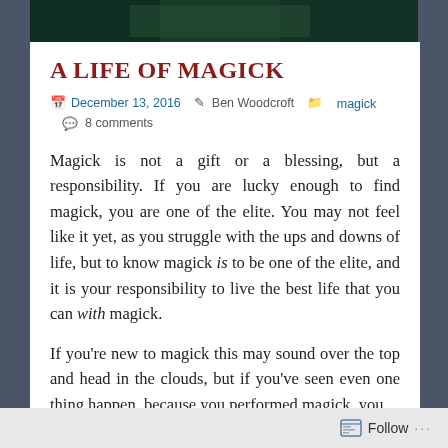[Figure (photo): Dark green/teal hero image, appears to be a nature or mystical scene with dark tones]
A LIFE OF MAGICK
December 13, 2016  Ben Woodcroft  magick  8 comments
Magick is not a gift or a blessing, but a responsibility. If you are lucky enough to find magick, you are one of the elite. You may not feel like it yet, as you struggle with the ups and downs of life, but to know magick is to be one of the elite, and it is your responsibility to live the best life that you can with magick.
If you're new to magick this may sound over the top and head in the clouds, but if you've seen even one thing happen, because you performed magick, you
Follow